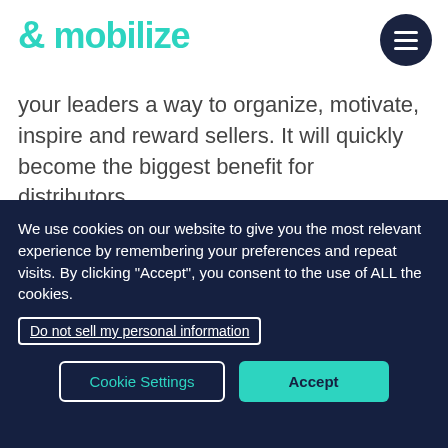& mobilize
your leaders a way to organize, motivate, inspire and reward sellers. It will quickly become the biggest benefit for distributors.
[Figure (screenshot): Partial avatar/profile image with an orange notification badge showing the number 6]
We use cookies on our website to give you the most relevant experience by remembering your preferences and repeat visits. By clicking “Accept”, you consent to the use of ALL the cookies.
Do not sell my personal information
Cookie Settings   Accept